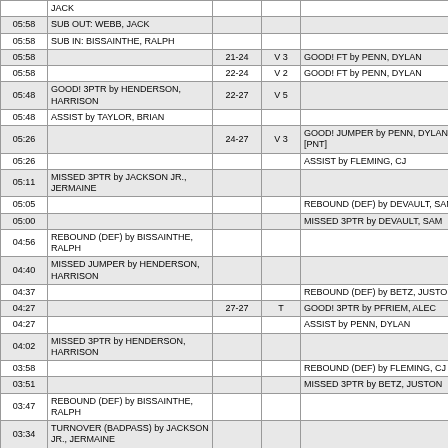| TIME | HOME | SCORE | MARGIN | VISITOR |
| --- | --- | --- | --- | --- |
|  | JACK |  |  |  |
| 05:58 | SUB OUT: WEBB, JACK |  |  |  |
| 05:58 | SUB IN: BISSAINTHE, RALPH |  |  |  |
| 05:58 |  | 21-24 | V 3 | GOOD! FT by PENN, DYLAN |
| 05:58 |  | 22-24 | V 2 | GOOD! FT by PENN, DYLAN |
| 05:48 | GOOD! 3PTR by HENDERSON, HARRISON | 22-27 | V 5 |  |
| 05:48 | ASSIST by TAYLOR, BRIAN |  |  |  |
| 05:26 |  | 24-27 | V 3 | GOOD! JUMPER by PENN, DYLAN [PNT] |
| 05:26 |  |  |  | ASSIST by FLEMING, CJ |
| 05:11 | MISSED 3PTR by JACKSON JR., JERMAINE |  |  |  |
| 05:05 |  |  |  | REBOUND (DEF) by DEVAULT, SAM |
| 05:00 |  |  |  | MISSED 3PTR by DEVAULT, SAM |
| 04:56 | REBOUND (DEF) by BISSAINTHE, RALPH |  |  |  |
| 04:40 | MISSED JUMPER by HENDERSON, HARRISON |  |  |  |
| 04:37 |  |  |  | REBOUND (DEF) by BETZ, JUSTON |
| 04:27 |  | 27-27 | T | GOOD! 3PTR by PFRIEM, ALEC |
| 04:27 |  |  |  | ASSIST by PENN, DYLAN |
| 04:02 | MISSED 3PTR by HENDERSON, HARRISON |  |  |  |
| 03:58 |  |  |  | REBOUND (DEF) by FLEMING, CJ |
| 03:51 |  |  |  | MISSED 3PTR by BETZ, JUSTON |
| 03:47 | REBOUND (DEF) by BISSAINTHE, RALPH |  |  |  |
| 03:34 | TURNOVER (BADPASS) by JACKSON JR., JERMAINE |  |  |  |
| 03:34 |  |  |  | STEAL by FLEMING, CJ |
| 03:27 |  |  |  | MISSED LAYUP by DEVAULT, |